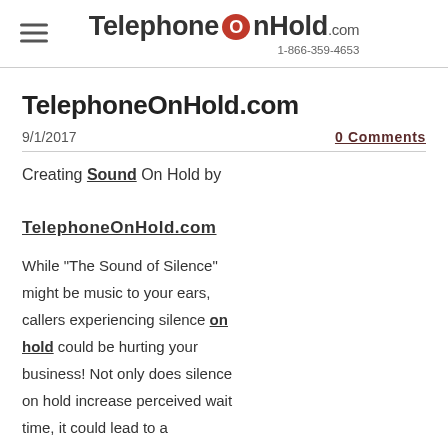TelephoneOnHold.com 1-866-359-4653
TelephoneOnHold.com
9/1/2017
0 Comments
Creating Sound On Hold by TelephoneOnHold.com
[Figure (illustration): Muted speaker / silence icon in dark gray, with a diagonal line through a speaker symbol]
Silence On Hold by Telephone On
While "The Sound of Silence" might be music to your ears, callers experiencing silence on hold could be hurting your business! Not only does silence on hold increase perceived wait time, it could lead to a caller thinking you disconnected them, resulting in a